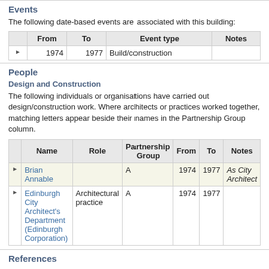Events
The following date-based events are associated with this building:
|  | From | To | Event type | Notes |
| --- | --- | --- | --- | --- |
| ▶ | 1974 | 1977 | Build/construction |  |
People
Design and Construction
The following individuals or organisations have carried out design/construction work. Where architects or practices worked together, matching letters appear beside their names in the Partnership Group column.
|  | Name | Role | Partnership Group | From | To | Notes |
| --- | --- | --- | --- | --- | --- | --- |
| ▶ | Brian Annable |  | A | 1974 | 1977 | As City Architect |
| ▶ | Edinburgh City Architect's Department (Edinburgh Corporation) | Architectural practice | A | 1974 | 1977 |  |
References